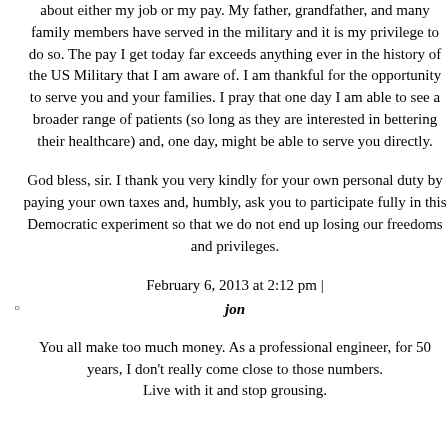about either my job or my pay. My father, grandfather, and many family members have served in the military and it is my privilege to do so. The pay I get today far exceeds anything ever in the history of the US Military that I am aware of. I am thankful for the opportunity to serve you and your families. I pray that one day I am able to see a broader range of patients (so long as they are interested in bettering their healthcare) and, one day, might be able to serve you directly.
God bless, sir. I thank you very kindly for your own personal duty by paying your own taxes and, humbly, ask you to participate fully in this Democratic experiment so that we do not end up losing our freedoms and privileges.
February 6, 2013 at 2:12 pm |
jon
You all make too much money. As a professional engineer, for 50 years, I don't really come close to those numbers.
Live with it and stop grousing.